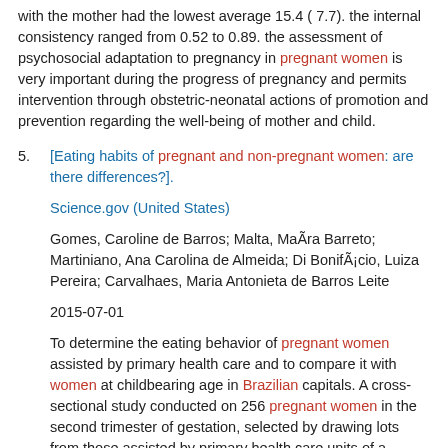with the mother had the lowest average 15.4 (7.7). the internal consistency ranged from 0.52 to 0.89. the assessment of psychosocial adaptation to pregnancy in pregnant women is very important during the progress of pregnancy and permits intervention through obstetric-neonatal actions of promotion and prevention regarding the well-being of mother and child.
[Eating habits of pregnant and non-pregnant women: are there differences?].

Science.gov (United States)

Gomes, Caroline de Barros; Malta, MaÃra Barreto; Martiniano, Ana Carolina de Almeida; Di BonifÃ¡cio, Luiza Pereira; Carvalhaes, Maria Antonieta de Barros Leite

2015-07-01

To determine the eating behavior of pregnant women assisted by primary health care and to compare it with women at childbearing age in Brazilian capitals. A cross-sectional study conducted on 256 pregnant women in the second trimester of gestation, selected by drawing lots from those assisted by primary health care units of a municipality in the state of SÃ£o